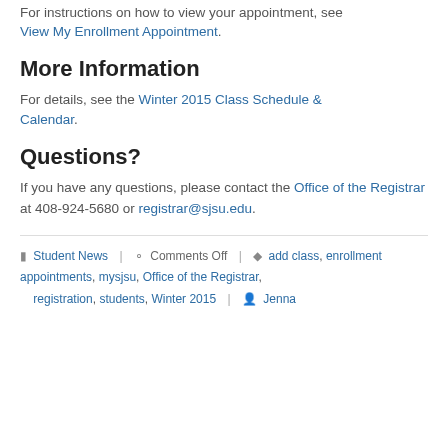For instructions on how to view your appointment, see View My Enrollment Appointment.
More Information
For details, see the Winter 2015 Class Schedule & Calendar.
Questions?
If you have any questions, please contact the Office of the Registrar at 408-924-5680 or registrar@sjsu.edu.
Student News | Comments Off | add class, enrollment appointments, mysjsu, Office of the Registrar, registration, students, Winter 2015 | Jenna